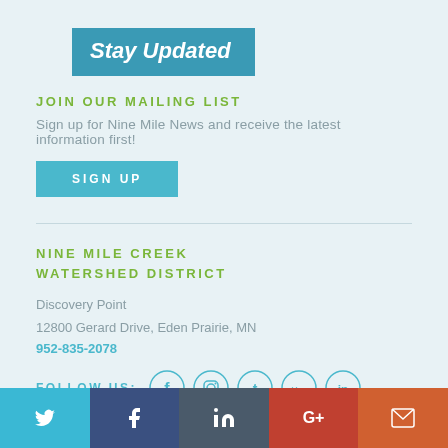Stay Updated
JOIN OUR MAILING LIST
Sign up for Nine Mile News and receive the latest information first!
SIGN UP
NINE MILE CREEK WATERSHED DISTRICT
Discovery Point
12800 Gerard Drive, Eden Prairie, MN
952-835-2078
FOLLOW US:
Twitter | Facebook | LinkedIn | Google+ | Email